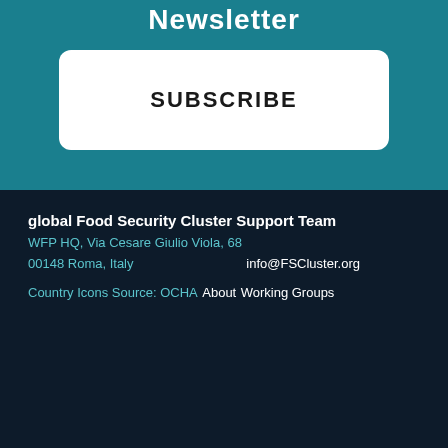Newsletter
SUBSCRIBE
global Food Security Cluster Support Team
WFP HQ, Via Cesare Giulio Viola, 68
00148 Roma, Italy
info@FSCluster.org
Country Icons Source: OCHA
About
Working Groups